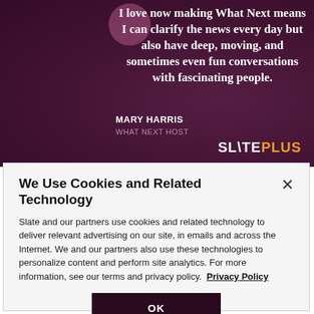[Figure (photo): Slate Plus advertisement banner with purple/maroon background showing a person's face, a quote about making What Next, attributed to Mary Harris, What Next Host. The Slate Plus logo appears in the bottom right.]
We Use Cookies and Related Technology
Slate and our partners use cookies and related technology to deliver relevant advertising on our site, in emails and across the Internet. We and our partners also use these technologies to personalize content and perform site analytics. For more information, see our terms and privacy policy.  Privacy Policy
OK